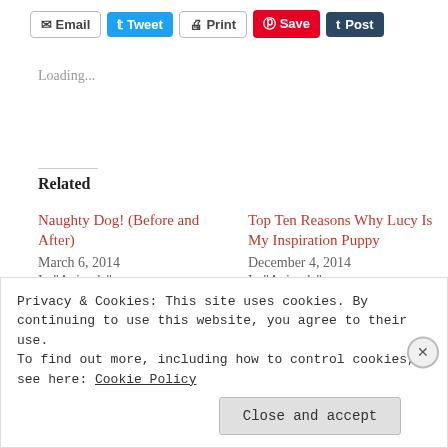[Figure (screenshot): Social sharing buttons: Email, Tweet, Print, Save, Post]
Loading...
Related
Naughty Dog! (Before and After)
March 6, 2014
In "Animals"
Top Ten Reasons Why Lucy Is My Inspiration Puppy
December 4, 2014
In "Animals"
Lucy's 1 Year Anniversary (Four Season Puppy)
Privacy & Cookies: This site uses cookies. By continuing to use this website, you agree to their use.
To find out more, including how to control cookies, see here: Cookie Policy
Close and accept